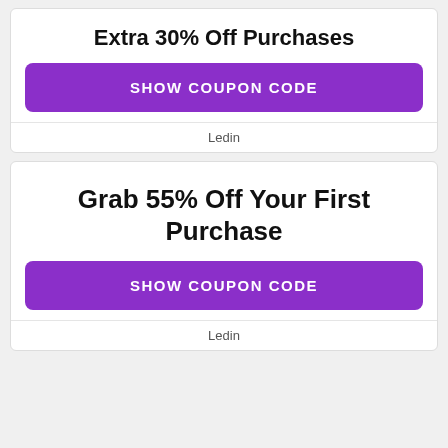Extra 30% Off Purchases
SHOW COUPON CODE
Ledin
Grab 55% Off Your First Purchase
SHOW COUPON CODE
Ledin